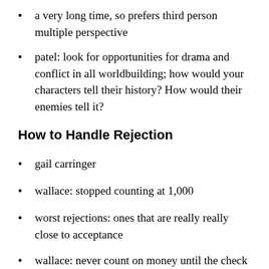a very long time, so prefers third person multiple perspective
patel: look for opportunities for drama and conflict in all worldbuilding; how would your characters tell their history? How would their enemies tell it?
How to Handle Rejection
gail carringer
wallace: stopped counting at 1,000
worst rejections: ones that are really really close to acceptance
wallace: never count on money until the check clears
carringer: rejection is evidence that you're trying